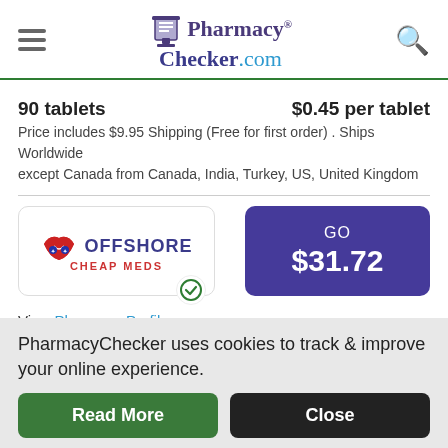PharmacyChecker.com
90 tablets   $0.45 per tablet
Price includes $9.95 Shipping (Free for first order) . Ships Worldwide except Canada from Canada, India, Turkey, US, United Kingdom
[Figure (logo): Offshore Cheap Meds pharmacy logo with GO $31.72 button]
View Pharmacy Profile
60 tablets   $0.53 per tablet
Price includes $9.95 Shipping (Free for first order) . Ships Worldwide except Canada from Canada, India, Turkey, US, United Kingdom
PharmacyChecker uses cookies to track & improve your online experience.